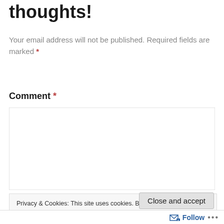thoughts!
Your email address will not be published. Required fields are marked *
Comment *
[Figure (other): Empty comment textarea input box with border]
Privacy & Cookies: This site uses cookies. By continuing to use this website, you agree to their use. To find out more, including how to control cookies, see here: Cookie Policy
Follow ...